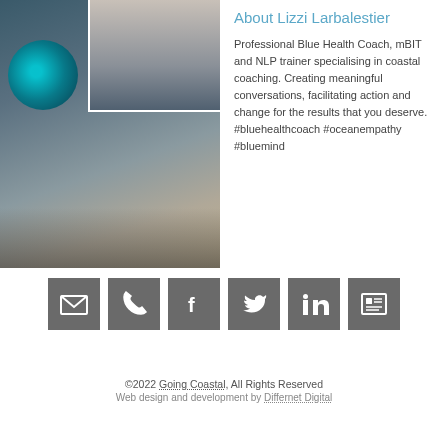[Figure (photo): Photo collage: large beach/coastal scene with a person holding a crystal ball reflecting the ocean, overlaid with a smaller portrait photo of a woman with short hair wearing a blue top with headphones around her neck.]
About Lizzi Larbalestier
Professional Blue Health Coach, mBIT and NLP trainer specialising in coastal coaching. Creating meaningful conversations, facilitating action and change for the results that you deserve. #bluehealthcoach #oceanempathy #bluemind
[Figure (infographic): Row of six grey square social media / contact icons: email (envelope), phone, Facebook (f), Twitter (bird), LinkedIn (in), and a newspaper/blog icon.]
©2022 Going Coastal, All Rights Reserved
Web design and development by Differnet Digital